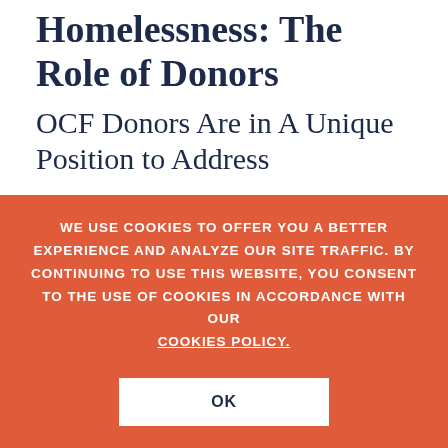Homelessness: The Role of Donors
OCF Donors Are in A Unique Position to Address
WE USE COOKIES TO OFFER YOU A BETTER EXPERIENCE AND ANALYZE OUR SITE TRAFFIC. BY CONTINUING TO USE THIS WEBSITE, YOU CONSENT TO THE USE OF COOKIES IN ACCORDANCE WITH OUR COOKIES POLICY.
OK